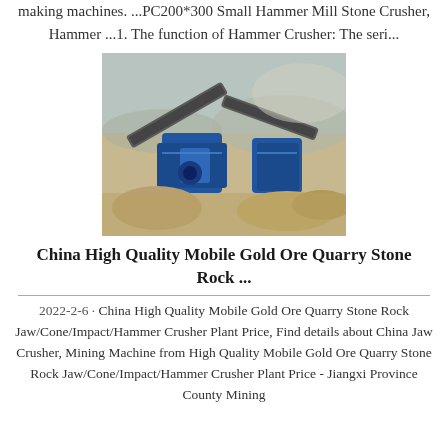making machines. ...PC200*300 Small Hammer Mill Stone Crusher, Hammer ...1. The function of Hammer Crusher: The seri...
[Figure (photo): Outdoor industrial scene showing a blue mobile stone crusher plant with conveyor belts operating in a sandy/rocky open-air site.]
China High Quality Mobile Gold Ore Quarry Stone Rock ...
2022-2-6 · China High Quality Mobile Gold Ore Quarry Stone Rock Jaw/Cone/Impact/Hammer Crusher Plant Price, Find details about China Jaw Crusher, Mining Machine from High Quality Mobile Gold Ore Quarry Stone Rock Jaw/Cone/Impact/Hammer Crusher Plant Price - Jiangxi Province County Mining